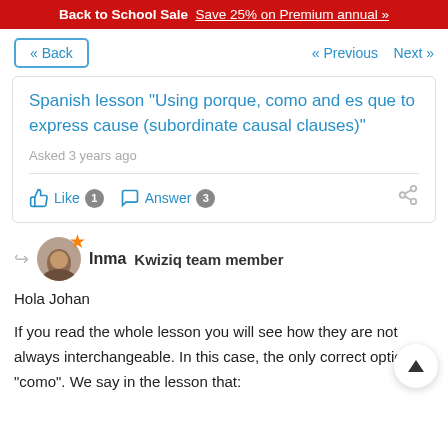Back to School Sale  Save 25% on Premium annual »
« Back   « Previous   Next »
Spanish lesson "Using porque, como and es que to express cause (subordinate causal clauses)"
Asked 3 years ago
Like 1   Answer 3
Inma  Kwiziq team member
Hola Johan

If you read the whole lesson you will see how they are not always interchangeable. In this case, the only correct option is "como". We say in the lesson that: